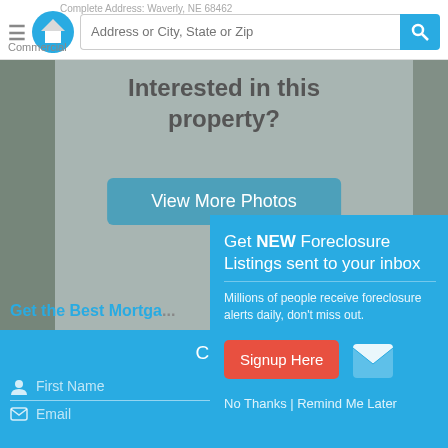[Figure (screenshot): Real estate website header with hamburger menu, home logo, search bar with placeholder 'Address or City, State or Zip', and teal search button. Background text shows 'Complete Address: Waverly, NE 68462' and 'Commercial'.]
[Figure (screenshot): Property photo background with overlay text 'Interested in this property?' and a teal 'View More Photos' button. Below: 'Get the Best Mortga...' link in teal.]
[Figure (screenshot): Blue teal form area at bottom with 'Create' heading, First Name and Last Name fields, Email field.]
[Figure (screenshot): Modal popup overlay: 'Get NEW Foreclosure Listings sent to your inbox'. Subtext: 'Millions of people receive foreclosure alerts daily, don't miss out.' Red 'Signup Here' button with envelope icon. Footer: 'No Thanks | Remind Me Later']